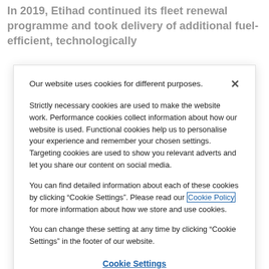In 2019, Etihad continued its fleet renewal programme and took delivery of additional fuel-efficient, technologically
Our website uses cookies for different purposes.
Strictly necessary cookies are used to make the website work. Performance cookies collect information about how our website is used. Functional cookies help us to personalise your experience and remember your chosen settings. Targeting cookies are used to show you relevant adverts and let you share our content on social media.
You can find detailed information about each of these cookies by clicking “Cookie Settings”. Please read our Cookie Policy for more information about how we store and use cookies.
You can change these setting at any time by clicking “Cookie Settings” in the footer of our website.
Cookie Settings